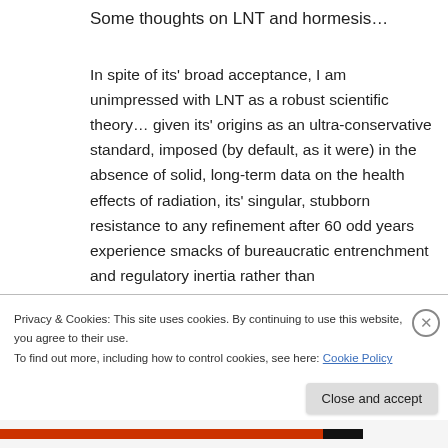Some thoughts on LNT and hormesis…
In spite of its' broad acceptance, I am unimpressed with LNT as a robust scientific theory… given its' origins as an ultra-conservative standard, imposed (by default, as it were) in the absence of solid, long-term data on the health effects of radiation, its' singular, stubborn resistance to any refinement after 60 odd years experience smacks of bureaucratic entrenchment and regulatory inertia rather than
Privacy & Cookies: This site uses cookies. By continuing to use this website, you agree to their use.
To find out more, including how to control cookies, see here: Cookie Policy
Close and accept